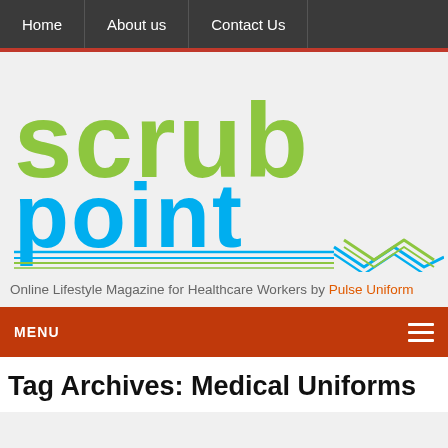Home | About us | Contact Us
[Figure (logo): Scrub Point logo — 'scrub' in lime green large letters, 'point' in cyan large letters, with parallel horizontal lines and a chevron/zigzag graphic element in blue and green]
Online Lifestyle Magazine for Healthcare Workers by Pulse Uniform
MENU
Tag Archives: Medical Uniforms